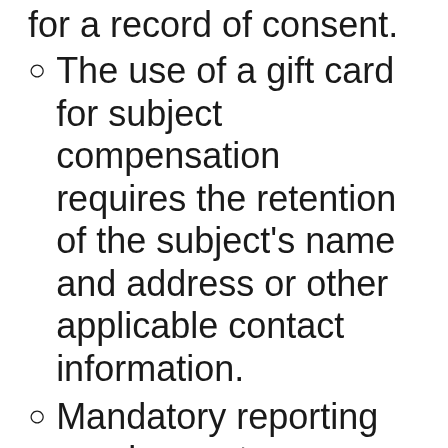for a record of consent.
The use of a gift card for subject compensation requires the retention of the subject's name and address or other applicable contact information.
Mandatory reporting requirements
While it may seem a bit daunting and confusing initially, the staff of the HSO are well prepared to help you navigate this new approach to